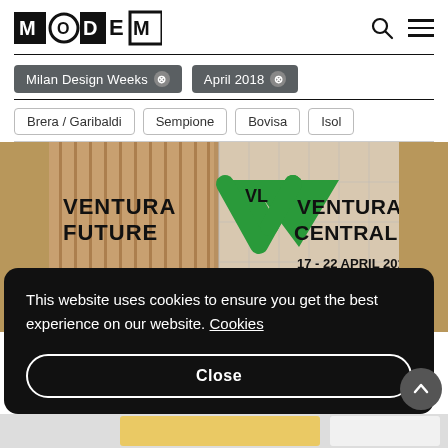MODEM
Milan Design Weeks ×
April 2018 ×
Brera / Garibaldi
Sempione
Bovisa
Isol…
[Figure (photo): Ventura Future and Ventura Centrale banner: 17 - 22 April 2018, Milan Design Week]
This website uses cookies to ensure you get the best experience on our website. Cookies
Close